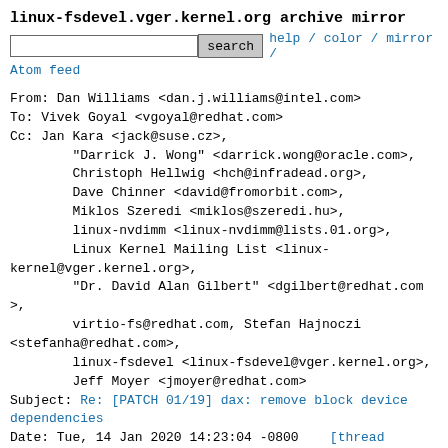linux-fsdevel.vger.kernel.org archive mirror
search  help / color / mirror / Atom feed
From: Dan Williams <dan.j.williams@intel.com>
To: Vivek Goyal <vgoyal@redhat.com>
Cc: Jan Kara <jack@suse.cz>,
        "Darrick J. Wong" <darrick.wong@oracle.com>,
        Christoph Hellwig <hch@infradead.org>,
        Dave Chinner <david@fromorbit.com>,
        Miklos Szeredi <miklos@szeredi.hu>,
        linux-nvdimm <linux-nvdimm@lists.01.org>,
        Linux Kernel Mailing List <linux-kernel@vger.kernel.org>,
        "Dr. David Alan Gilbert" <dgilbert@redhat.com>,
        virtio-fs@redhat.com, Stefan Hajnoczi <stefanha@redhat.com>,
        linux-fsdevel <linux-fsdevel@vger.kernel.org>,
        Jeff Moyer <jmoyer@redhat.com>
Subject: Re: [PATCH 01/19] dax: remove block device dependencies
Date: Tue, 14 Jan 2020 14:23:04 -0800   [thread overview]
Message-ID:
<CAPcyv4igrs4OuWuCB163PPBLqyGVaVbaNfE=kCfHRPRuvZdxQA@mail. (raw)
In-Reply-To: <20200114212805.GB3145@redhat.com>

On Tue, Jan 14, 2020 at 1:28 PM Vivek Goyal